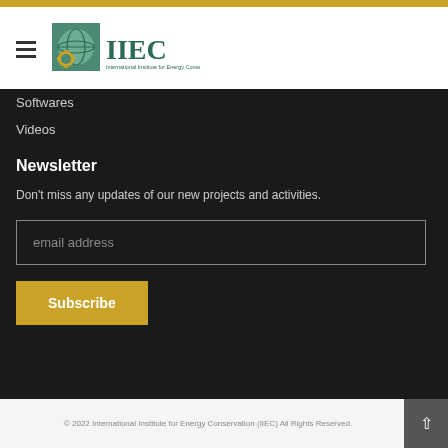[Figure (logo): IIEC - International Institute for Energy Conservation logo with green text and globe/gear icon]
Softwares
Videos
Newsletter
Don't miss any updates of our new projects and activities.
email address
Subscribe
© 2022 International Institute for Energy Conservation (IIEC) All Rights Reserved.